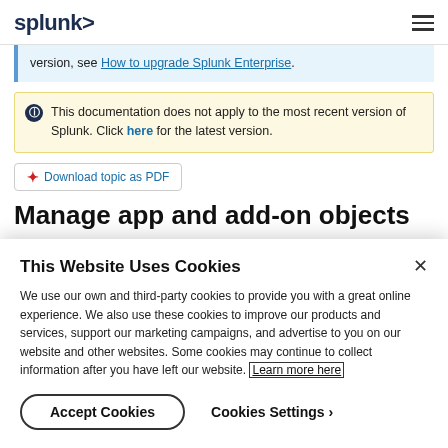splunk>
version, see How to upgrade Splunk Enterprise.
This documentation does not apply to the most recent version of Splunk. Click here for the latest version.
Download topic as PDF
Manage app and add-on objects
This Website Uses Cookies
We use our own and third-party cookies to provide you with a great online experience. We also use these cookies to improve our products and services, support our marketing campaigns, and advertise to you on our website and other websites. Some cookies may continue to collect information after you have left our website. Learn more here
Accept Cookies   Cookies Settings ›